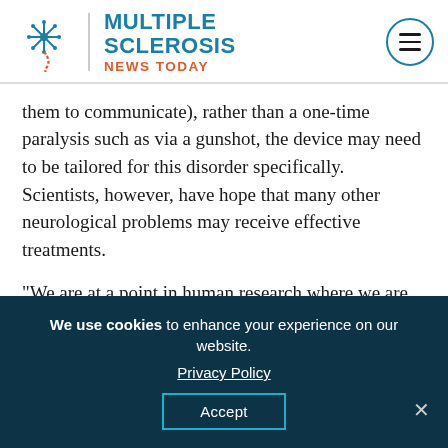Multiple Sclerosis News Today
them to communicate), rather than a one-time paralysis such as via a gunshot, the device may need to be tailored for this disorder specifically. Scientists, however, have hope that many other neurological problems may receive effective treatments.
“We are at a point in human research where we are making huge strides in overcoming a lot of neurologic disease,” stated Christianne Heck, associate professor of neurology at USC and co-director of the USC Neurorestoration Center.
We use cookies to enhance your experience on our website. Privacy Policy Accept